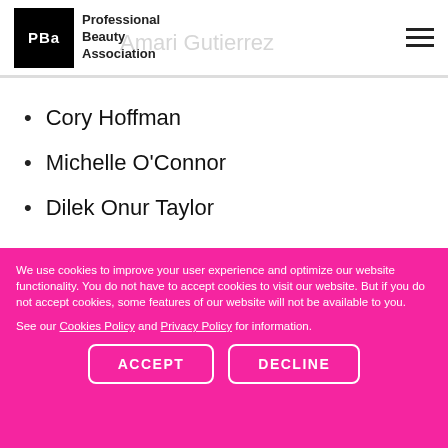Professional Beauty Association
Cory Hoffman
Michelle O'Connor
Dilek Onur Taylor
We use cookies to improve your user experience and optimize our website functionality. You do not have to accept cookies to visit our website. But if you do not accept cookies, some features of our website will not be available to you.
See our Cookies Policy and Privacy Policy for information.